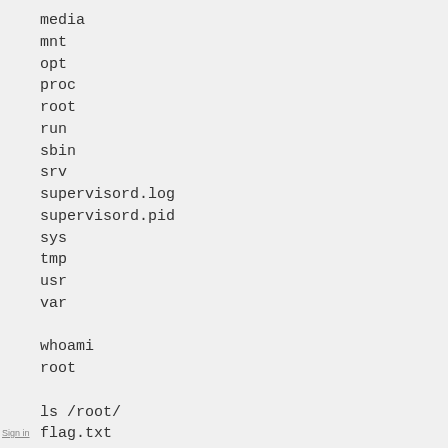media
mnt
opt
proc
root
run
sbin
srv
supervisord.log
supervisord.pid
sys
tmp
usr
var

whoami
root

ls /root/
flag.txt
vsftpd

cat /root/flag.txt
{FLAG:Router1:c877f00ce2b886446395150589166
Sign in